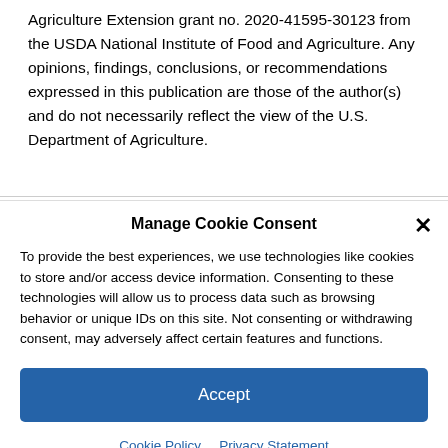Agriculture Extension grant no. 2020-41595-30123 from the USDA National Institute of Food and Agriculture. Any opinions, findings, conclusions, or recommendations expressed in this publication are those of the author(s) and do not necessarily reflect the view of the U.S. Department of Agriculture.
Manage Cookie Consent
To provide the best experiences, we use technologies like cookies to store and/or access device information. Consenting to these technologies will allow us to process data such as browsing behavior or unique IDs on this site. Not consenting or withdrawing consent, may adversely affect certain features and functions.
Accept
Cookie Policy  Privacy Statement